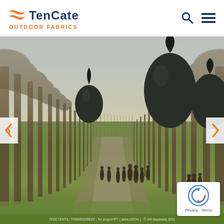[Figure (logo): TenCate Outdoor Fabrics logo: orange stylized ribbon/cross icon, bold navy blue 'TenCate' wordmark, orange uppercase 'OUTDOOR FABRICS' tagline]
[Figure (other): Navigation icons: dark navy search (magnifier) icon and hamburger menu icon in top right of header]
[Figure (photo): Full-width outdoor landscape photo showing an avenue of tall bare trees in a park. Several people are walking along a grass path. Large dark teardrop-shaped tents/pod structures hang from the trees on both sides. Carousel navigation arrows on left and right sides. Photo credit: TREETENTS / TRANENDREEF - for project PIT (www.z33.be) - c dré wapenaar 2011. reCAPTCHA badge overlay in bottom right.]